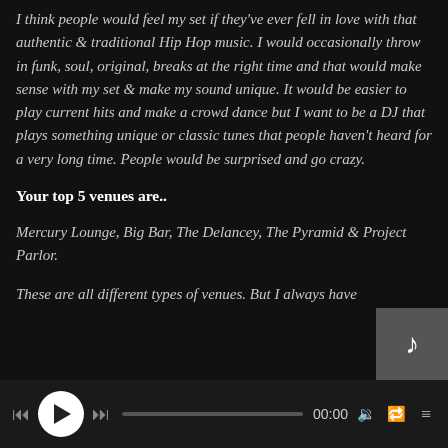I think people would feel my set if they've ever fell in love with that authentic & traditional Hip Hop music. I would occasionally throw in funk, soul, original, breaks at the right time and that would make sense with my set & make my sound unique. It would be easier to play current hits and make a crowd dance but I want to be a DJ that plays something unique or classic tunes that people haven't heard for a very long time. People would be surprised and go crazy.
Your top 5 venues are..
Mercury Lounge, Big Bar, The Delancey, The Pyramid & Project Parlor.
These are all different types of venues. But I always have